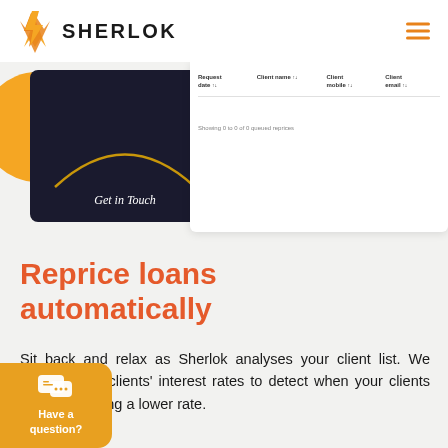[Figure (logo): Sherlok logo with orange lightning bolt icon and 'SHERLOK' wordmark in bold dark text, hamburger menu icon in orange on right]
[Figure (screenshot): Screenshot showing a dark card with 'Get in Touch' text and a data table interface with columns: Request date, Client name, Client mobile, Client email. Shows 'Showing 0 to 0 of 0 queued reprices' with orange circle decoration]
Reprice loans automatically
Sit back and relax as Sherlok analyses your client list. We monitor your clients' interest rates to detect when your clients could be getting a lower rate.
[Figure (illustration): Orange chat/question bubble widget with speech bubble icon and 'Have a question?' label]